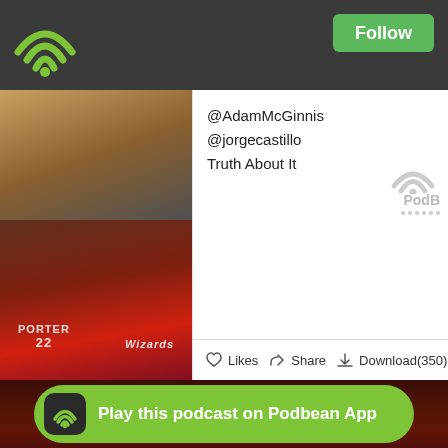[Figure (screenshot): Podbean podcast app interface showing WiFi/signal icon top left and Follow button top right on dark grey navigation bar]
[Figure (photo): Basketball player's shoes/feet on court floor]
[Figure (photo): Washington Wizards basketball players celebrating - Porter #22 and Wizards #4 fist bumping]
@AdamMcGinnis
@jorgecastillo
Truth About It
[Figure (logo): Podbean logo - wifi arc symbol with text PodB and dots]
Likes   Share   Download(350)
[Figure (photo): Wide shot of Washington Wizards players celebrating on court with crowd in background]
Copyright 2015 Adam McGinnis. All rights reserved.
Play this podcast on Podbean App